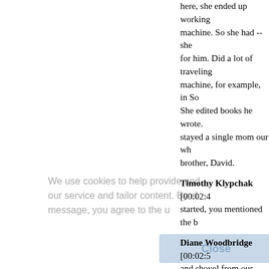here, she ended up working machine. So she had -- she for him. Did a lot of traveling machine, for example, in So She edited books he wrote. stayed a single mom our wh brother, David.
Timothy Klypchak [00:02:4 started, you mentioned the b
Diane Woodbridge [00:02:5 and shovel from our house o finally got down Lomond. I m fourth grade and I was fairly So it was a big snow. Really for four years.
We use cookies to help provide and our service and tailor content. By cl message, you agree to the u
Timothy Klypchak [00:03:2 school?
Diane Woodbridge [00:03:2 Right. And went to Miami Un
Timothy Klypchak [00:03:3
Diane Woodbridge [00:03:3 school, particularly. I think w had one African-American m